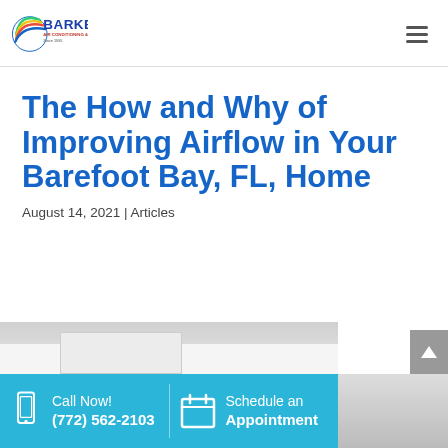Barker Air Conditioning & Heating, Inc. — site header with logo and navigation menu icon
The How and Why of Improving Airflow in Your Barefoot Bay, FL, Home
August 14, 2021 | Articles
[Figure (photo): Partial view of an interior room, white walls, partially visible at bottom of page]
Call Now! (772) 562-2103
Schedule an Appointment